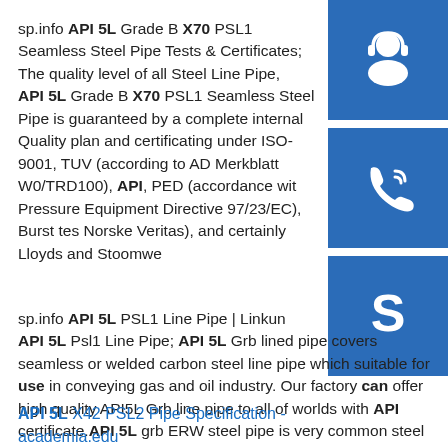sp.info API 5L Grade B X70 PSL1 Seamless Steel Pipe Tests & Certificates; The quality level of all Steel Line Pipe, API 5L Grade B X70 PSL1 Seamless Steel Pipe is guaranteed by a complete internal Quality plan and certificating under ISO-9001, TUV (according to AD Merkblatt W0/TRD100), API, PED (accordance with Pressure Equipment Directive 97/23/EC), Burst tes Norske Veritas), and certainly Lloyds and Stoomwe
[Figure (illustration): Three blue square icon buttons stacked vertically on the right side: a customer service/headset icon, a phone/call icon, and a Skype icon.]
sp.info API 5L PSL1 Line Pipe | Linkun API 5L Psl1 Line Pipe; API 5L Grb lined pipe covers seamless or welded carbon steel line pipe which suitable for use in conveying gas and oil industry. Our factory can offer high quality API5L Grb line pipe to all of worlds with API certificate.API 5L grb ERW steel pipe is very common steel grade,usuallyy for psl1 grb pipe.
API 5L X42 PSL2 Pipe Specification - academia.edu